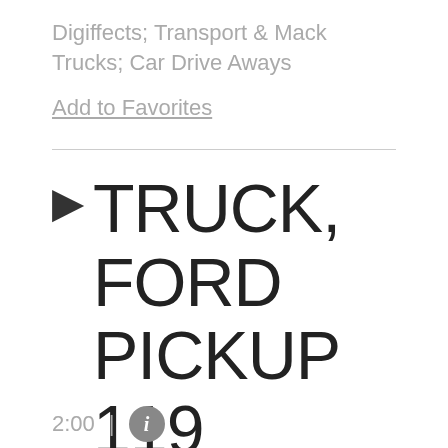Digiffects; Transport & Mack Trucks; Car Drive Aways
Add to Favorites
TRUCK, FORD PICKUP 119
by Soundideas | wav |
2:00 | ℹ